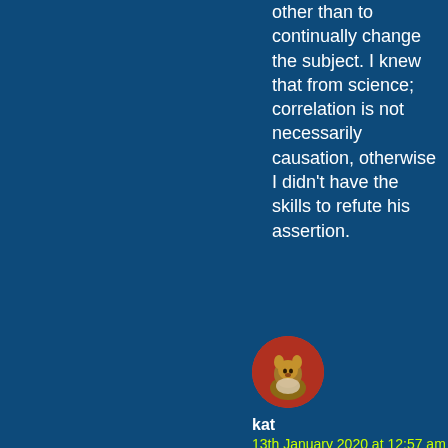other than to continually change the subject. I knew that from science; correlation is not necessarily causation, otherwise I didn't have the skills to refute his assertion.
[Figure (photo): Circular avatar image of user 'kat' showing an animal on a red background]
kat
13th January 2020 at 12:57 am